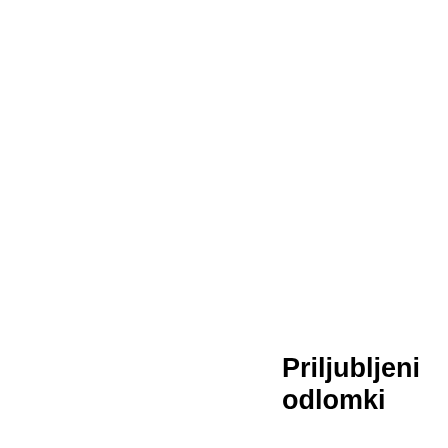[Figure (infographic): Word cloud with words in various sizes in blue, arranged in rows on the right side of the page. Words include: meeting, mind, missionaries, moral, natives, negroes, never, object, officers, opinion, persons, population, prejudice, present, principles, question, race, reason, received, regard, religious, remarks, resolution, Resolved, respect, sent, slavery, slaves, South, spirit, supply, taken, thing, tion, town, trade, truth, United, whole, York]
Priljubljeni odlomki